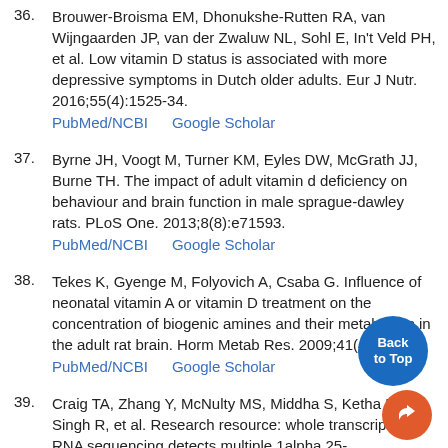36. Brouwer-Broisma EM, Dhonukshe-Rutten RA, van Wijngaarden JP, van der Zwaluw NL, Sohl E, In't Veld PH, et al. Low vitamin D status is associated with more depressive symptoms in Dutch older adults. Eur J Nutr. 2016;55(4):1525-34. PubMed/NCBI   Google Scholar
37. Byrne JH, Voogt M, Turner KM, Eyles DW, McGrath JJ, Burne TH. The impact of adult vitamin d deficiency on behaviour and brain function in male sprague-dawley rats. PLoS One. 2013;8(8):e71593. PubMed/NCBI   Google Scholar
38. Tekes K, Gyenge M, Folyovich A, Csaba G. Influence of neonatal vitamin A or vitamin D treatment on the concentration of biogenic amines and their metabolites in the adult rat brain. Horm Metab Res. 2009;41(4):277-80. PubMed/NCBI   Google Scholar
39. Craig TA, Zhang Y, McNulty MS, Middha S, Ketha H, Singh R, et al. Research resource: whole transcriptome RNA sequencing detects multiple 1alpha,25-dihydroxyvitamin D(3)-sensitive metabolic pathways in developing zebrafish. Mol Endocrinol. 2012;26(9):1630-42. PubMed/NCBI   Google Scholar